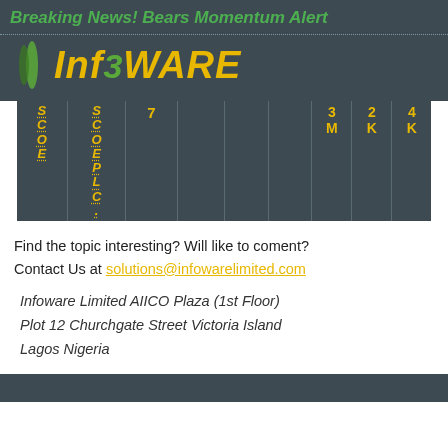Breaking News! Bears Momentum Alert
[Figure (logo): InfoWARE logo with globe icon and leaf graphic on dark background]
|  |  | 7 |  |  |  | 3 M | 2 K | 4 K |
| --- | --- | --- | --- | --- | --- | --- | --- | --- |
| S C O E | S C O E P L C . |  |  |  |  |  |  |  |
Find the topic interesting? Will like to coment? Contact Us at solutions@infowarelimited.com
Infoware Limited AIICO Plaza (1st Floor) Plot 12 Churchgate Street Victoria Island Lagos Nigeria